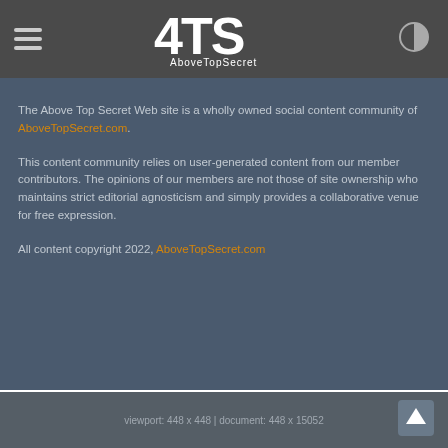ATS AboveTopSecret
The Above Top Secret Web site is a wholly owned social content community of AboveTopSecret.com.
This content community relies on user-generated content from our member contributors. The opinions of our members are not those of site ownership who maintains strict editorial agnosticism and simply provides a collaborative venue for free expression.
All content copyright 2022, AboveTopSecret.com
viewport: 448 x 448 | document: 448 x 15052